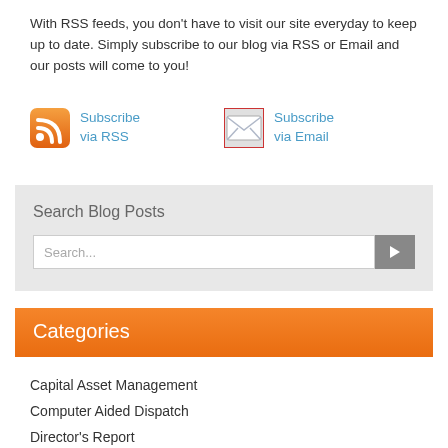With RSS feeds, you don't have to visit our site everyday to keep up to date. Simply subscribe to our blog via RSS or Email and our posts will come to you!
[Figure (illustration): RSS subscribe icon (orange with RSS symbol) and Email subscribe icon (envelope) with blue link text 'Subscribe via RSS' and 'Subscribe via Email']
Search Blog Posts
Search...
Categories
Capital Asset Management
Computer Aided Dispatch
Director's Report
Disaster Recovery
financial software